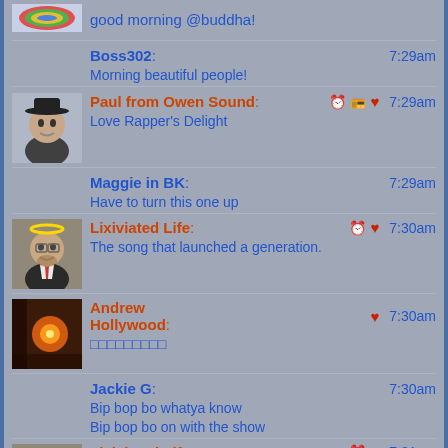good morning @buddha!
Boss302: 7:29am — Morning beautiful people!
Paul from Owen Sound: 7:29am — Love Rapper's Delight
Maggie in BK: 7:29am — Have to turn this one up
Lixiviated Life: 7:30am — The song that launched a generation.
Andrew Hollywood: 7:30am — □□□□□□□□□
Jackie G: 7:30am — Bip bop bo whatya know
Bip bop bo on with the show
Lixiviated Life: 7:31am — Holiday inn
Handy Haversack: 7:31am